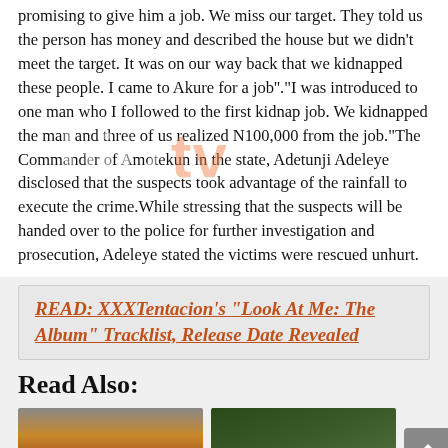promising to give him a job. We miss our target. They told us the person has money and described the house but we didn't meet the target. It was on our way back that we kidnapped these people. I came to Akure for a job''."I was introduced to one man who I followed to the first kidnap job. We kidnapped the man and three of us realized N100,000 from the job."The Commander of Amotekun in the state, Adetunji Adeleye disclosed that the suspects took advantage of the rainfall to execute the crime.While stressing that the suspects will be handed over to the police for further investigation and prosecution, Adeleye stated the victims were rescued unhurt.
READ: XXXTentacion's “Look At Me; The Album” Tracklist, Release Date Revealed
Read Also:
[Figure (photo): Thumbnail image of a person with hands raised]
[Figure (photo): Thumbnail image of trees/forest]